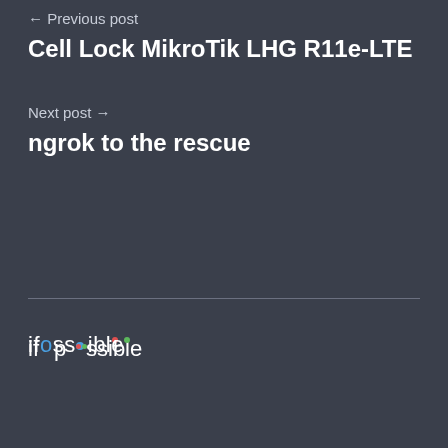← Previous post
Cell Lock MikroTik LHG R11e-LTE
Next post →
ngrok to the rescue
[Figure (logo): ifpossible logo with colored dots replacing letters o]
ifpossible